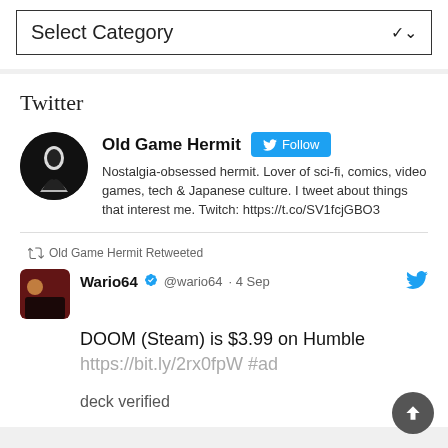Select Category
Twitter
Old Game Hermit Follow
Nostalgia-obsessed hermit. Lover of sci-fi, comics, video games, tech & Japanese culture. I tweet about things that interest me. Twitch: https://t.co/SV1fcjGBO3
Old Game Hermit Retweeted
Wario64 @wario64 · 4 Sep
DOOM (Steam) is $3.99 on Humble https://bit.ly/2rx0fpW #ad
deck verified